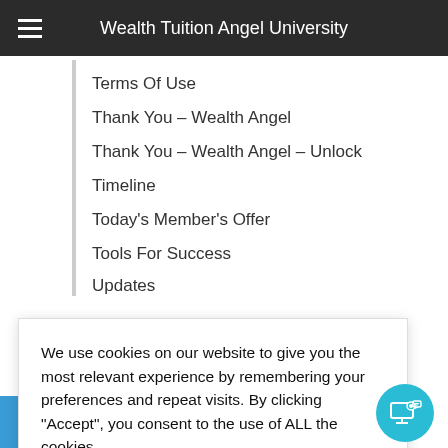Wealth Tuition Angel University
Terms Of Use
Thank You – Wealth Angel
Thank You – Wealth Angel – Unlock
Timeline
Today's Member's Offer
Tools For Success
Updates
We use cookies on our website to give you the most relevant experience by remembering your preferences and repeat visits. By clicking “Accept”, you consent to the use of ALL the cookies.
Accept basic cookies - (Limits functionality
Cookie settings
ACCEPT
Chat with us